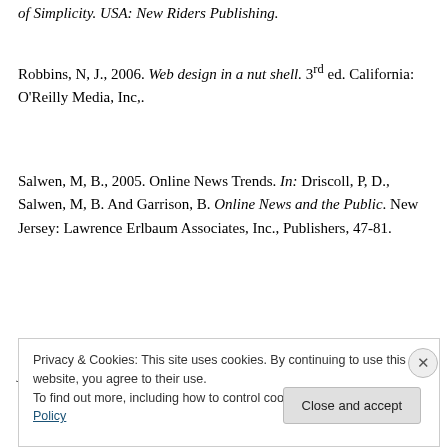of Simplicity. USA: New Riders Publishing.
Robbins, N, J., 2006. Web design in a nut shell. 3rd ed. California: O'Reilly Media, Inc,.
Salwen, M, B., 2005. Online News Trends. In: Driscoll, P, D., Salwen, M, B. And Garrison, B. Online News and the Public. New Jersey: Lawrence Erlbaum Associates, Inc., Publishers, 47-81.
Thurman, N., 2008. New Media & Society. Forums for citizen journalists? Adoption of user generated content
Privacy & Cookies: This site uses cookies. By continuing to use this website, you agree to their use.
To find out more, including how to control cookies, see here: Cookie Policy
Close and accept